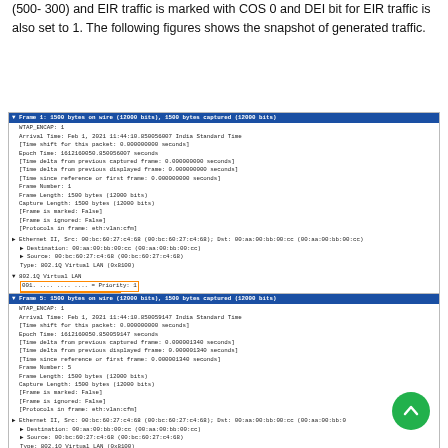(500- 300) and EIR traffic is marked with COS 0 and DEI bit for EIR traffic is also set to 1. The following figures shows the snapshot of generated traffic.
[Figure (screenshot): Wireshark packet capture screenshot showing Frame 1: 1500 bytes on wire (12000 bits), 1500 bytes captured (12000 bits). Details include WTAP_ENCAP, Arrival Time Feb 1 2021, Ethernet II, 802.1Q Virtual LAN with Priority 1 and CFI 0 highlighted in orange, ID 10, CFM with MEG Level 7, Loss Measurement Message.]
[Figure (screenshot): Wireshark packet capture screenshot showing Frame 5: 1500 bytes on wire (12000 bits), 1500 bytes captured (12000 bits). Details include WTAP_ENCAP, Arrival Time Feb 1 2021, Ethernet II, 802.1Q Virtual LAN with Priority 0 and CFI 1 highlighted in orange, ID 10, CFM section visible at bottom.]